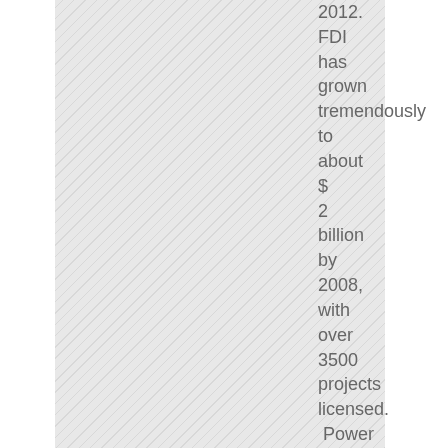[Figure (photo): Hatched/diagonal striped pattern placeholder image on the left side of the page]
2012. FDI has grown tremendously to about $ 2 billion by 2008, with over 3500 projects licensed. Power stations have been developed with some